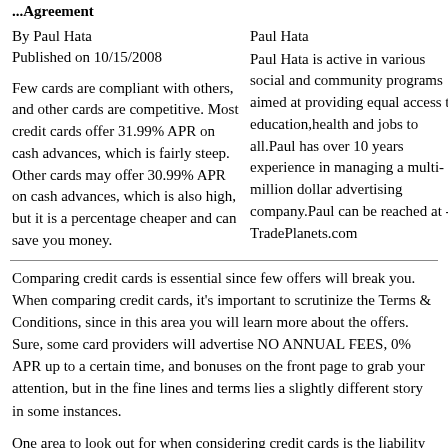...Agreement
By Paul Hata
Published on 10/15/2008
Paul Hata
Paul Hata is active in various social and community programs aimed at providing equal access to education,health and jobs to all.Paul has over 10 years experience in managing a multi-million dollar advertising company.Paul can be reached at - TradePlanets.com
Few cards are compliant with others, and other cards are competitive. Most credit cards offer 31.99% APR on cash advances, which is fairly steep. Other cards may offer 30.99% APR on cash advances, which is also high, but it is a percentage cheaper and can save you money.
Comparing credit cards is essential since few offers will break you. When comparing credit cards, it's important to scrutinize the Terms & Conditions, since in this area you will learn more about the offers. Sure, some card providers will advertise NO ANNUAL FEES, 0% APR up to a certain time, and bonuses on the front page to grab your attention, but in the fine lines and terms lies a slightly different story in some instances.
One area to look out for when considering credit cards is the liability on fraud use of your card. Some companies will put on the front page that the liability is zero, but once you read the terms and condition you learn that the zero has stipulations. You will also